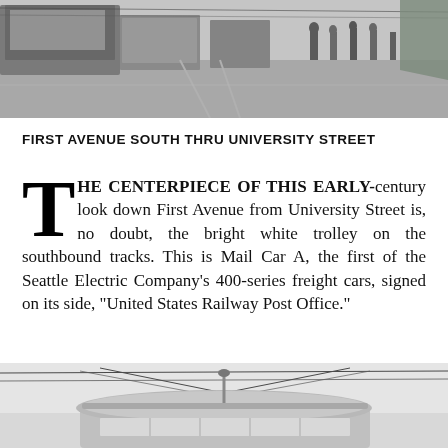[Figure (photo): Black and white historical photograph looking down First Avenue from University Street, showing a street scene with vehicles and pedestrians]
FIRST AVENUE SOUTH THRU UNIVERSITY STREET
THE CENTERPIECE OF THIS EARLY-century look down First Avenue from University Street is, no doubt, the bright white trolley on the southbound tracks. This is Mail Car A, the first of the Seattle Electric Company's 400-series freight cars, signed on its side, “United States Railway Post Office.”
[Figure (photo): Black and white historical photograph showing a trolley car from below, with overhead wires visible against a light sky]